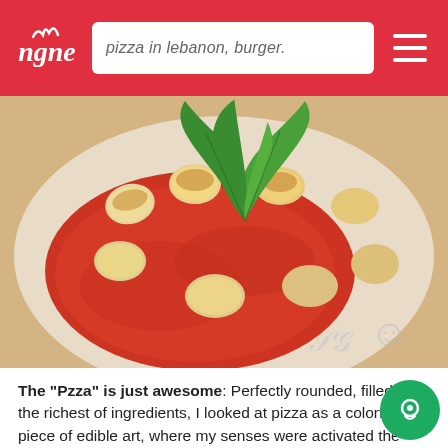pizza in lebanon, burger.
[Figure (photo): Close-up food photo of gnocchi in tomato sauce topped with fresh basil leaves, served in a white bowl. A watermark logo appears in the bottom right corner.]
The "Pzza" is just awesome: Perfectly rounded, filled with the richest of ingredients, I looked at pizza as a colorful piece of edible art, where my senses were activated the minute I laid eyes on it. I can still visualize the strong red color, simple